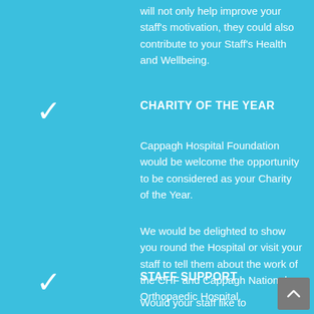will not only help improve your staff's motivation, they could also contribute to your Staff's Health and Wellbeing.
CHARITY OF THE YEAR
Cappagh Hospital Foundation would be welcome the opportunity to be considered as your Charity of the Year.
We would be delighted to show you round the Hospital or visit your staff to tell them about the work of the CHF and Cappagh National Orthopaedic Hospital.
STAFF SUPPORT
Would your staff like to organise an event? Run a marathon? Hold a bake off? Climb a mountain or hold a knitathon?